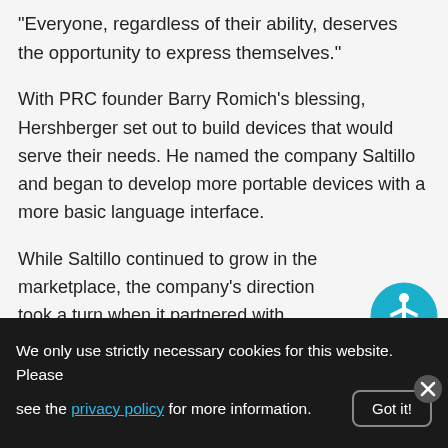“Everyone, regardless of their ability, deserves the opportunity to express themselves.”
With PRC founder Barry Romich’s blessing, Hershberger set out to build devices that would serve their needs. He named the company Saltillo and began to develop more portable devices with a more basic language interface.
[Figure (illustration): Accessibility icon: blue circle with white wheelchair-user symbol]
While Saltillo continued to grow in the marketplace, the company’s direction took a turn when it partnered with Enkidu, another young company that focused on the then-emerging handheld device market
We only use strictly necessary cookies for this website. Please see the privacy policy for more information.
Got it!